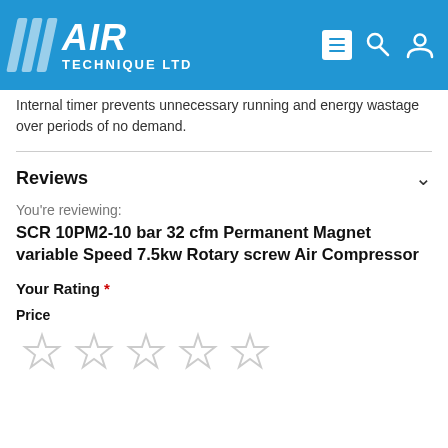[Figure (logo): Air Technique Ltd logo on blue header background with search and user icons]
Internal timer prevents unnecessary running and energy wastage over periods of no demand.
Reviews
You're reviewing:
SCR 10PM2-10 bar 32 cfm Permanent Magnet variable Speed 7.5kw Rotary screw Air Compressor
Your Rating *
Price
[Figure (other): Five empty star rating icons for Price]